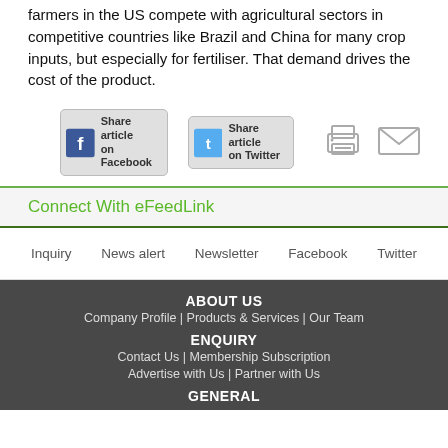farmers in the US compete with agricultural sectors in competitive countries like Brazil and China for many crop inputs, but especially for fertiliser. That demand drives the cost of the product.
[Figure (infographic): Share article on Facebook button, Share article on Twitter button, print icon, email icon]
Connect With eFeedLink
Inquiry   News alert   Newsletter   Facebook   Twitter
ABOUT US
Company Profile | Products & Services | Our Team
ENQUIRY
Contact Us | Membership Subscription
Advertise with Us | Partner with Us
GENERAL